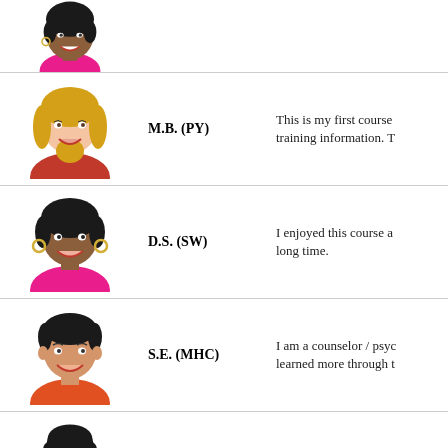[Figure (illustration): Cartoon avatar of a Black woman with short dark hair and hoop earrings wearing a pink top — partially visible at top of page]
[Figure (illustration): Cartoon avatar of a blonde white woman with long hair wearing a red top]
M.B. (PY)
This is my first course training information. T
[Figure (illustration): Cartoon avatar of a Black woman with short dark hair and hoop earrings wearing a pink/magenta top]
D.S. (SW)
I enjoyed this course a long time.
[Figure (illustration): Cartoon avatar of a young man with short dark hair wearing an orange/red top]
S.E. (MHC)
I am a counselor / psyc learned more through t
[Figure (illustration): Cartoon avatar of a Black woman with short curly dark hair wearing a red top — partially visible at bottom]
I.B. (PY) PhD
Well written and comp